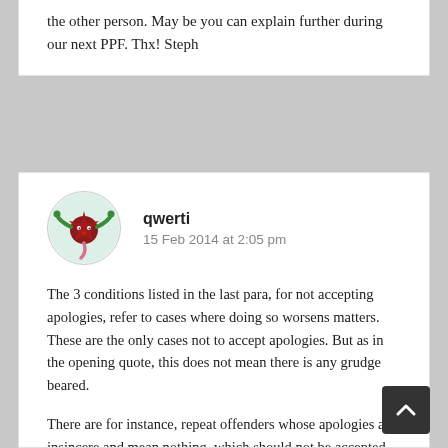the other person. May be you can explain further during our next PPF. Thx! Steph
qwerti
15 Feb 2014 at 2:05 pm
[Figure (illustration): Circular avatar image with a cartoon character — a dark red star-shaped figure with green arms and a pink tail, on a light blue/white background.]
The 3 conditions listed in the last para, for not accepting apologies, refer to cases where doing so worsens matters. These are the only cases not to accept apologies. But as in the opening quote, this does not mean there is any grudge beared.
There are for instance, repeat offenders whose apologies are insincere and mean nothing, which should not be accepted, so as to wake them up. This is how they can be helped. Simply accepting their non-apologies to make the person feel better for a while does not help in the long run. What needed is perhaps